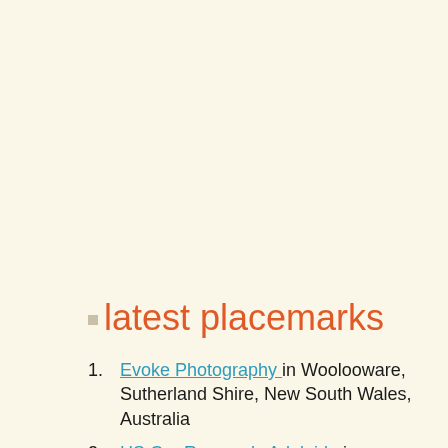latest placemarks
Evoke Photography in Woolooware, Sutherland Shire, New South Wales, Australia
HS Car Removals Adelaide in Adelaide, Adelaide, South Australia, Australia
Home Care Cleaning in London, Lambeth, South East, England, United Kingdom